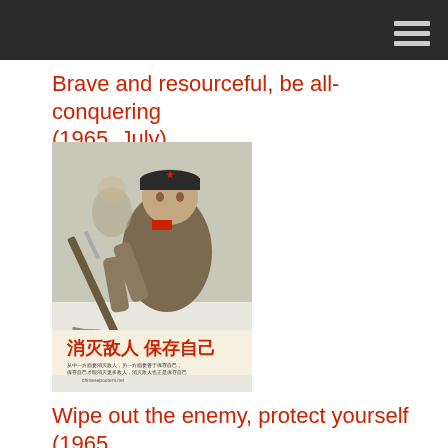Brave and resourceful, be all-conquering (1965, July)
[Figure (photo): Chinese propaganda poster showing a soldier in winter gear with bayonet, with Chinese text reading 消灭敌人 保存自己 at the bottom]
Wipe out the enemy, protect yourself (1965, July)
[Figure (photo): Partial view of another Chinese propaganda poster showing soldiers in water]